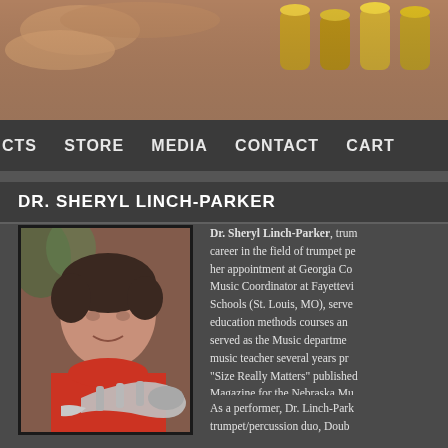[Figure (photo): Top banner photo showing hands holding a brass trumpet instrument with golden valves, close-up view]
CTS   STORE   MEDIA   CONTACT   CART
DR. SHERYL LINCH-PARKER
[Figure (photo): Portrait photo of Dr. Sheryl Linch-Parker, a woman with short dark hair wearing a red jacket, smiling and holding a silver trumpet]
Dr. Sheryl Linch-Parker, trum... career in the field of trumpet pe... her appointment at Georgia Co... Music Coordinator at Fayettevi... Schools (St. Louis, MO), serve... education methods courses an... served as the Music departme... music teacher several years pr... "Size Really Matters" published... Magazine for the Nebraska Mu...
As a performer, Dr. Linch-Park... trumpet/percussion duo, Doub...